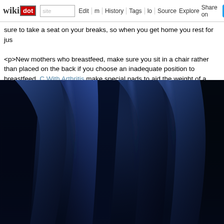wikidot | site | Edit | History | Tags | Source | Explore | Share on [Twitter]
sure to take a seat on your breaks, so when you get home you rest for jus

<p>New mothers who breastfeed, make sure you sit in a chair rather than placed on the back if you choose an inadequate position to breastfeed. C With Arthritis make special pads to aid the weight of a breastfeeding ba amount of stress on her behalf back muscles.</p>
[Figure (photo): Close-up photograph of dark blue fabric folds with dramatic lighting showing creases and shadows in deep navy/indigo textile material.]